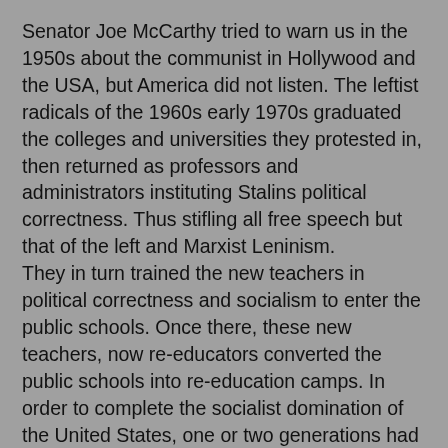Senator Joe McCarthy tried to warn us in the 1950s about the communist in Hollywood and the USA, but America did not listen. The leftist radicals of the 1960s early 1970s graduated the colleges and universities they protested in, then returned as professors and administrators instituting Stalins political correctness. Thus stifling all free speech but that of the left and Marxist Leninism.
They in turn trained the new teachers in political correctness and socialism to enter the public schools. Once there, these new teachers, now re-educators converted the public schools into re-education camps. In order to complete the socialist domination of the United States, one or two generations had to be ignorant of American culture, so diversity was introduced while vilifying the Found Fathers and the documents which created the United States.
They then trained journalist to no longer report the facts so Americans can make informed decisions, but to make the decisions for Americans and report those decisions as fact. The leftist pervert thespians in Hollywood then attacked in the movies and television programming by debasing the